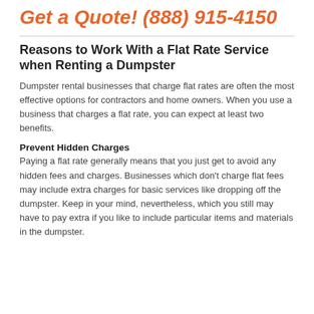Get a Quote! (888) 915-4150
Reasons to Work With a Flat Rate Service when Renting a Dumpster
Dumpster rental businesses that charge flat rates are often the most effective options for contractors and home owners. When you use a business that charges a flat rate, you can expect at least two benefits.
Prevent Hidden Charges
Paying a flat rate generally means that you just get to avoid any hidden fees and charges. Businesses which don't charge flat fees may include extra charges for basic services like dropping off the dumpster. Keep in your mind, nevertheless, which you still may have to pay extra if you like to include particular items and materials in the dumpster.